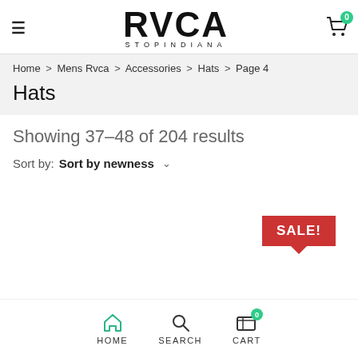RVCA STOPINDIANA — header with hamburger menu and cart (0 items)
Home > Mens Rvca > Accessories > Hats > Page 4
Hats
Showing 37–48 of 204 results
Sort by: Sort by newness
[Figure (other): Red SALE! speech bubble badge in the product listing area]
HOME  SEARCH  CART (0)